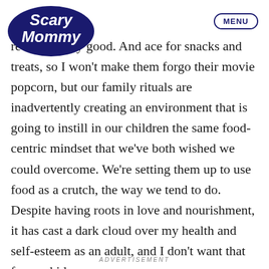[Figure (logo): Scary Mommy logo in dark navy blue with cursive/bubble lettering]
MENU
re completely good. And ace for snacks and treats, so I won't make them forgo their movie popcorn, but our family rituals are inadvertently creating an environment that is going to instill in our children the same food-centric mindset that we've both wished we could overcome. We're setting them up to use food as a crutch, the way we tend to do. Despite having roots in love and nourishment, it has cast a dark cloud over my health and self-esteem as an adult, and I don't want that for my kids.
ADVERTISEMENT